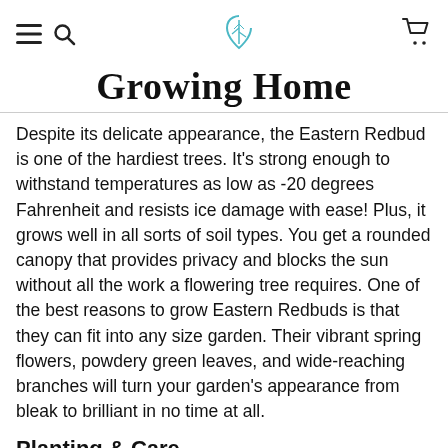Growing Home
Despite its delicate appearance, the Eastern Redbud is one of the hardiest trees. It's strong enough to withstand temperatures as low as -20 degrees Fahrenheit and resists ice damage with ease! Plus, it grows well in all sorts of soil types. You get a rounded canopy that provides privacy and blocks the sun without all the work a flowering tree requires. One of the best reasons to grow Eastern Redbuds is that they can fit into any size garden. Their vibrant spring flowers, powdery green leaves, and wide-reaching branches will turn your garden's appearance from bleak to brilliant in no time at all.
Planting & Care
Select planting areas with well-drained soil and at least four to